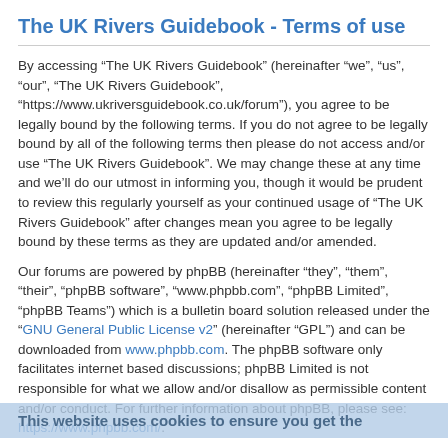The UK Rivers Guidebook - Terms of use
By accessing “The UK Rivers Guidebook” (hereinafter “we”, “us”, “our”, “The UK Rivers Guidebook”, “https://www.ukriversguidebook.co.uk/forum”), you agree to be legally bound by the following terms. If you do not agree to be legally bound by all of the following terms then please do not access and/or use “The UK Rivers Guidebook”. We may change these at any time and we’ll do our utmost in informing you, though it would be prudent to review this regularly yourself as your continued usage of “The UK Rivers Guidebook” after changes mean you agree to be legally bound by these terms as they are updated and/or amended.
Our forums are powered by phpBB (hereinafter “they”, “them”, “their”, “phpBB software”, “www.phpbb.com”, “phpBB Limited”, “phpBB Teams”) which is a bulletin board solution released under the “GNU General Public License v2” (hereinafter “GPL”) and can be downloaded from www.phpbb.com. The phpBB software only facilitates internet based discussions; phpBB Limited is not responsible for what we allow and/or disallow as permissible content and/or conduct. For further information about phpBB, please see: https://www.phpbb.com/.
You agree not to post any abusive, obscene, vulgar, slanderous, hateful, threatening, sexually-orientated or any other material that may violate any laws be it of your country, the country where “The UK Rivers Guidebook” is hosted or International Law. Doing so may lead to you being immediately and permanently banned, with notification of your Internet Service Provider if deemed required by us. The IP address of all posts are recorded to aid in enforcing these conditions. You agree that “The UK Rivers Guidebook” have the right to remove, edit, move